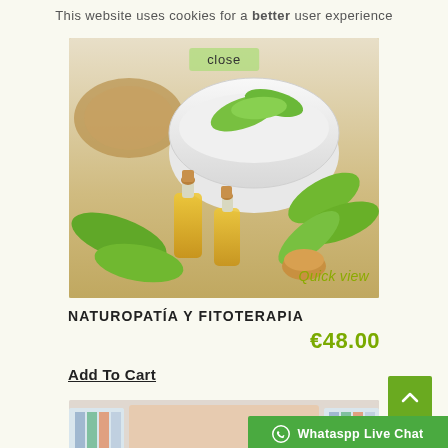This website uses cookies for a better user experience
[Figure (photo): Herbal medicine photo: mortar and pestle with green herbs, two small glass bottles with golden oil, cork stopper on wooden surface. A 'close' button overlay at top and 'Quick view' text at bottom right.]
NATUROPATÍA Y FITOTERAPIA
€48.00
Add To Cart
[Figure (photo): Partial bottom image showing what appears to be a medical or wellness procedure on skin, with product boxes visible in the background.]
Whataspp Live Chat